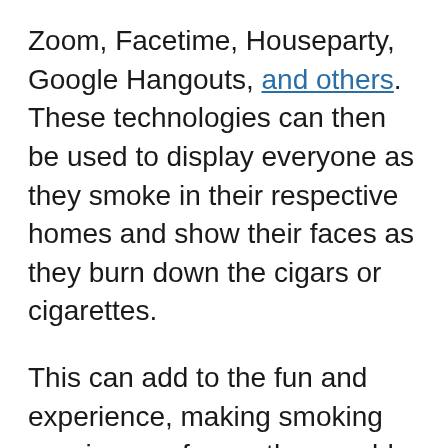Zoom, Facetime, Houseparty, Google Hangouts, and others. These technologies can then be used to display everyone as they smoke in their respective homes and show their faces as they burn down the cigars or cigarettes.
This can add to the fun and experience, making smoking sessions as fun as they could have been if they were all smoking together physically.
To make the session more interesting and interactive, you can set a time when every participant in the virtual smoking session can